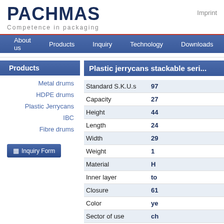PACHMAS
Competence in packaging
Imprint
About us | Products | Inquiry | Technology | Downloads
Products
Metal drums
HDPE drums
Plastic Jerrycans
IBC
Fibre drums
Inquiry Form
Plastic jerrycans stackable seri...
| Property | Value |
| --- | --- |
| Standard S.K.U.s | 97... |
| Capacity | 27... |
| Height | 44... |
| Length | 24... |
| Width | 29... |
| Weight | 1... |
| Material | H... |
| Inner layer | to... |
| Closure | 61... |
| Color | ye... |
| Sector of use | ch... |
| UN approval | Y... |
Main Features and Applications